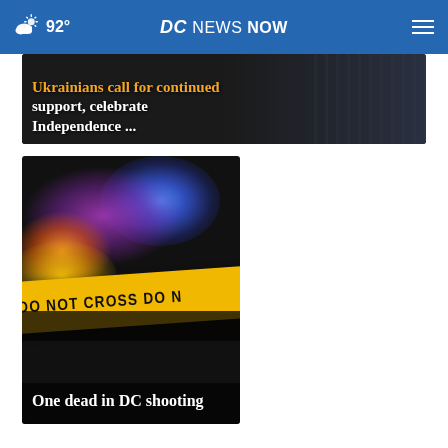92° DC NEWS NOW
Ukrainians call for continued support, celebrate Independence ...
[Figure (photo): Police crime scene tape with red and blue flashing police lights in the background at night]
One dead in DC shooting